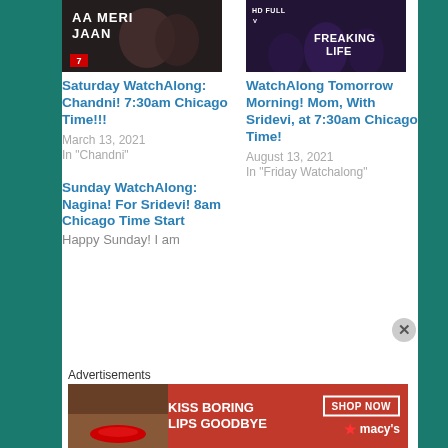[Figure (photo): Movie thumbnail showing 'Aa Meri Jaan' text with faces visible, dark background with red logo]
Saturday WatchAlong: Chandni! 7:30am Chicago Time!!!
March 13, 2021
In "Chandni"
[Figure (photo): Movie thumbnail showing 'Freaking Life' text with HD Full badge, dark party scene]
WatchAlong Tomorrow Morning! Mom, With Sridevi, at 7:30am Chicago Time!
August 13, 2021
In "Friday Watchalong"
Sunday WatchAlong: Nagina! For Sridevi! 8am Chicago Time Start
Happy Sunday! I am
Advertisements
[Figure (photo): Macy's advertisement banner: KISS BORING LIPS GOODBYE with woman's lips photo, SHOP NOW button and Macy's star logo]